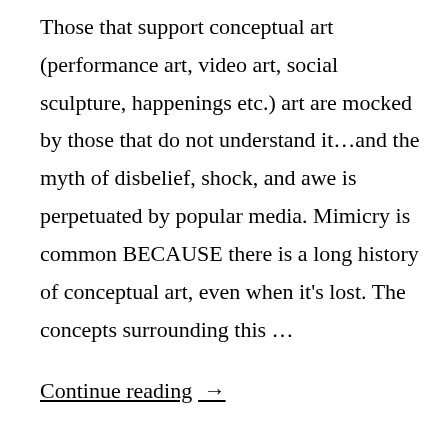Those that support conceptual art (performance art, video art, social sculpture, happenings etc.) art are mocked by those that do not understand it…and the myth of disbelief, shock, and awe is perpetuated by popular media. Mimicry is common BECAUSE there is a long history of conceptual art, even when it's lost. The concepts surrounding this …
Continue reading →